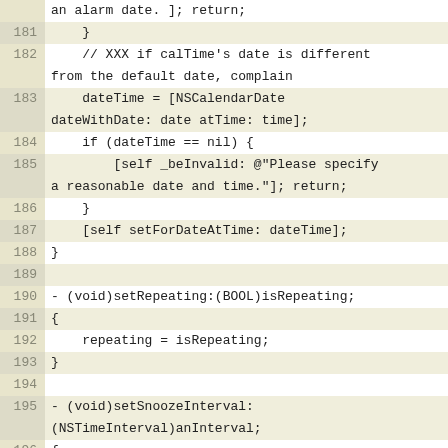[Figure (screenshot): Source code listing in Objective-C, lines 181-198, showing methods for setting date/time, repeating, and snooze interval on an alarm object.]